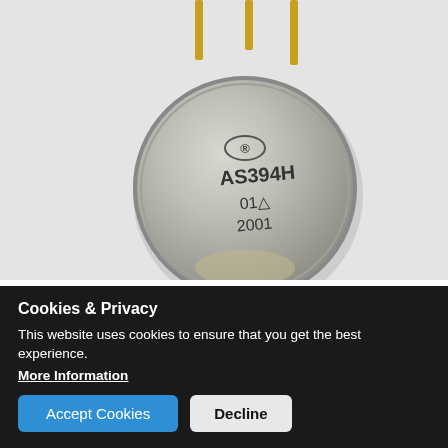[Figure (photo): Close-up photo of an AS394H NPN transistor in a TO5-8 metal can package with gold leads, showing the top of the component with markings: AS394H, 01△, 2001]
Transistor - AS394H, Matched Pair, Alfa, TO5-8 case, NPN
The AS394H is a junction isolated ultra well-matched monolithic NPN transistor pair with an order of magnitude improvement in matching over conventional transistor pairs. Electrical characteristics of these devices such as drift versus initial offset voltage, noise, and the exponential relationship of base-emitter voltage to collector current closely approach those of a theoretical transistor. Extrinsic base and emitter resistances are very low,
Cookies & Privacy
This website uses cookies to ensure that you get the best experience. More Information